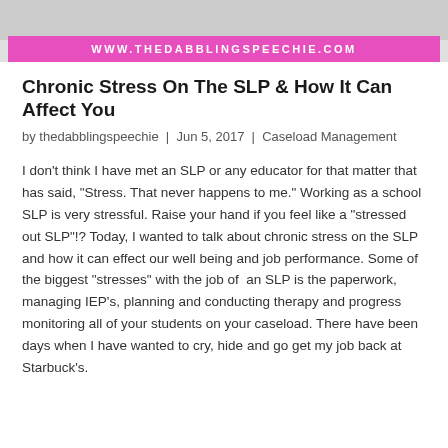[Figure (photo): Header image with a pink banner showing the website URL www.thedabblingspeechie.com]
Chronic Stress On The SLP & How It Can Affect You
by thedabblingspeechie | Jun 5, 2017 | Caseload Management
I don't think I have met an SLP or any educator for that matter that has said, "Stress. That never happens to me." Working as a school SLP is very stressful. Raise your hand if you feel like a "stressed out SLP"!? Today, I wanted to talk about chronic stress on the SLP and how it can effect our well being and job performance. Some of the biggest "stresses" with the job of an SLP is the paperwork, managing IEP's, planning and conducting therapy and progress monitoring all of your students on your caseload. There have been days when I have wanted to cry, hide and go get my job back at Starbuck's.